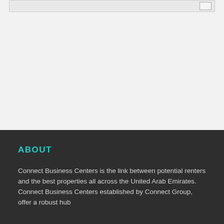ABOUT
Connect Business Centers is the link between potential renters and the best properties all across the United Arab Emirates. Connect Business Centers established by Connect Group, offer a robust hub